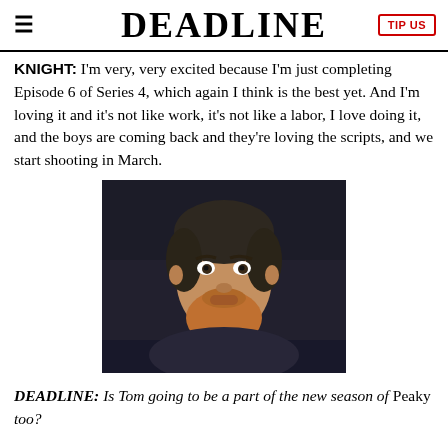DEADLINE  TIP US
KNIGHT: I'm very, very excited because I'm just completing Episode 6 of Series 4, which again I think is the best yet. And I'm loving it and it's not like work, it's not like a labor, I love doing it, and the boys are coming back and they're loving the scripts, and we start shooting in March.
[Figure (photo): A bearded man with reddish-brown beard wearing a dark vest and white shirt, looking intensely at the camera. Dark background suggesting a period drama setting.]
DEADLINE: Is Tom going to be a part of the new season of Peaky too?